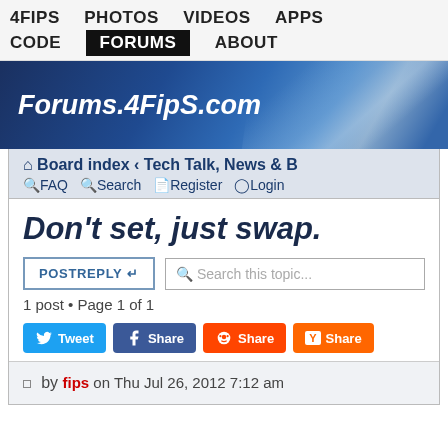4FIPS  PHOTOS  VIDEOS  APPS  CODE  FORUMS  ABOUT
[Figure (screenshot): Blue banner with text Forums.4FipS.com]
Board index < Tech Talk, News & B
FAQ  Search  Register  Login
Don't set, just swap.
POSTREPLY
Search this topic...
1 post • Page 1 of 1
Tweet  Share  Share  Share
by fips on Thu Jul 26, 2012 7:12 am